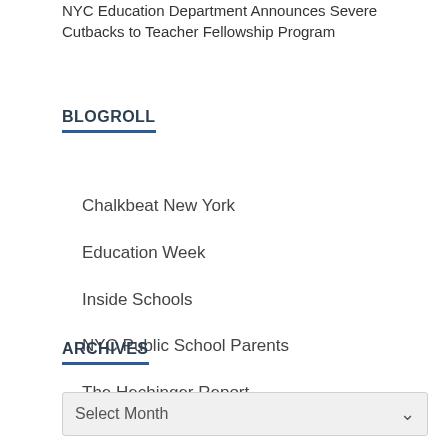NYC Education Department Announces Severe Cutbacks to Teacher Fellowship Program
BLOGROLL
Chalkbeat New York
Education Week
Inside Schools
NYC Public School Parents
The Hechinger Report
ARCHIVES
Select Month